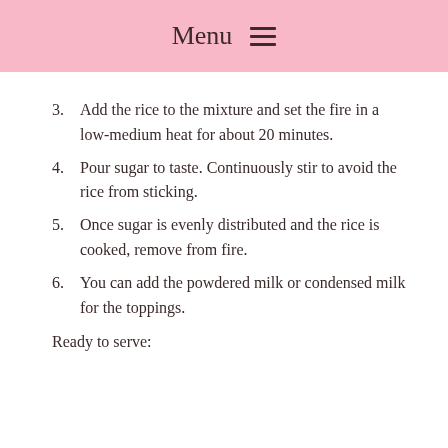Menu
3. Add the rice to the mixture and set the fire in a low-medium heat for about 20 minutes.
4. Pour sugar to taste. Continuously stir to avoid the rice from sticking.
5. Once sugar is evenly distributed and the rice is cooked, remove from fire.
6. You can add the powdered milk or condensed milk for the toppings.
Ready to serve: